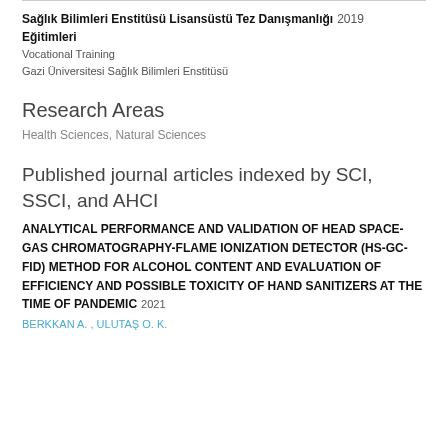Sağlık Bilimleri Enstitüsü Lisansüstü Tez Danışmanlığı Eğitimleri 2019
Vocational Training
Gazi Üniversitesi Sağlık Bilimleri Enstitüsü
Research Areas
Health Sciences, Natural Sciences
Published journal articles indexed by SCI, SSCI, and AHCI
ANALYTICAL PERFORMANCE AND VALIDATION OF HEAD SPACE-GAS CHROMATOGRAPHY-FLAME IONIZATION DETECTOR (HS-GC-FID) METHOD FOR ALCOHOL CONTENT AND EVALUATION OF EFFICIENCY AND POSSIBLE TOXICITY OF HAND SANITIZERS AT THE TIME OF PANDEMIC 2021
BERKKAN A. , ULUTAŞ O. K.